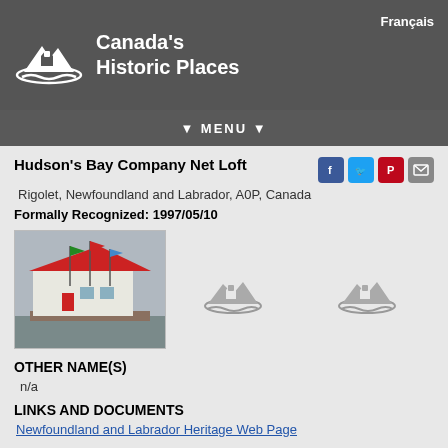Canada's Historic Places
Hudson's Bay Company Net Loft
Rigolet, Newfoundland and Labrador, A0P, Canada
Formally Recognized: 1997/05/10
[Figure (photo): Exterior photo of Hudson's Bay Company Net Loft, a white building with red roof and flags, on waterfront dock]
[Figure (logo): Canada's Historic Places placeholder logo (grey house/mountain icon)]
[Figure (logo): Canada's Historic Places placeholder logo (grey house/mountain icon)]
OTHER NAME(S)
n/a
LINKS AND DOCUMENTS
Newfoundland and Labrador Heritage Web Page